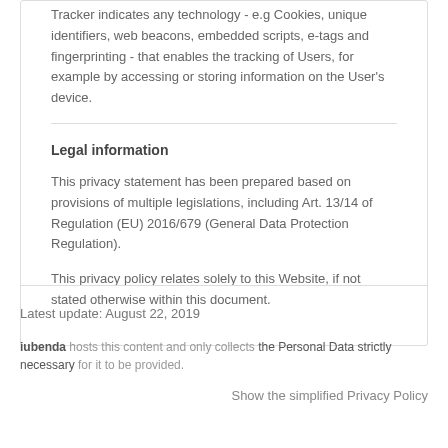Tracker indicates any technology - e.g Cookies, unique identifiers, web beacons, embedded scripts, e-tags and fingerprinting - that enables the tracking of Users, for example by accessing or storing information on the User's device.
Legal information
This privacy statement has been prepared based on provisions of multiple legislations, including Art. 13/14 of Regulation (EU) 2016/679 (General Data Protection Regulation).
This privacy policy relates solely to this Website, if not stated otherwise within this document.
Latest update: August 22, 2019
iubenda hosts this content and only collects the Personal Data strictly necessary for it to be provided.
Show the simplified Privacy Policy